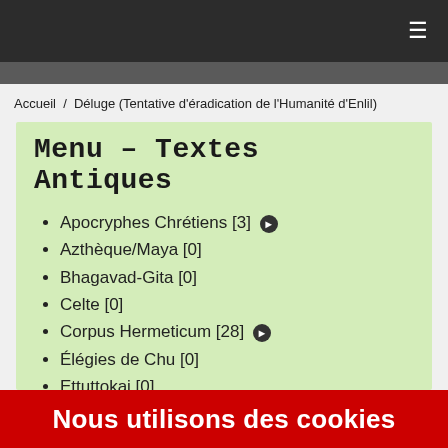≡
Accueil / Déluge (Tentative d'éradication de l'Humanité d'Enlil)
Menu – Textes Antiques
Apocryphes Chrétiens [3] ➔
Azthèque/Maya [0]
Bhagavad-Gita [0]
Celte [0]
Corpus Hermeticum [28] ➔
Élégies de Chu [0]
Ettuttokai [0]
Gnose [5] ➔
Kabbale [0]
Livre de Dzyan [0]
Nous utilisons des cookies